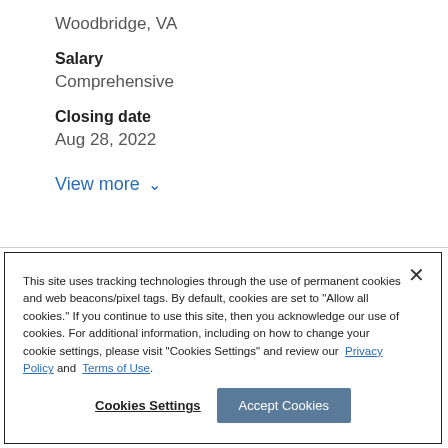Woodbridge, VA
Salary
Comprehensive
Closing date
Aug 28, 2022
View more ∨
This site uses tracking technologies through the use of permanent cookies and web beacons/pixel tags. By default, cookies are set to "Allow all cookies." If you continue to use this site, then you acknowledge our use of cookies. For additional information, including on how to change your cookie settings, please visit "Cookies Settings" and review our Privacy Policy and Terms of Use.
Cookies Settings
Accept Cookies